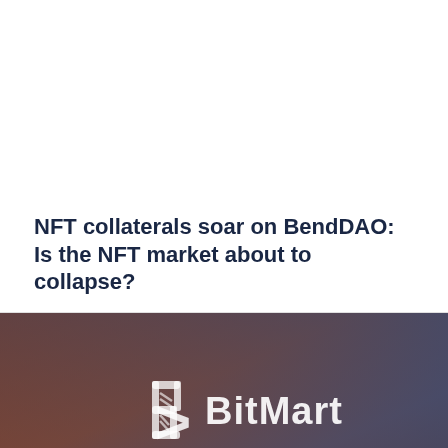NFT collaterals soar on BendDAO: Is the NFT market about to collapse?
[Figure (photo): BitMart exchange logo on a blurred gradient background of dark brown and blue tones]